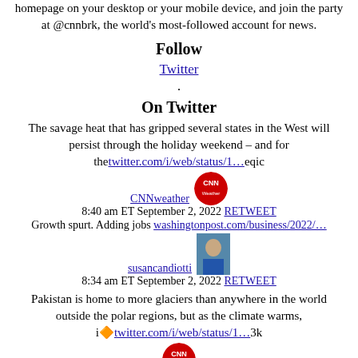homepage on your desktop or your mobile device, and join the party at @cnnbrk, the world's most-followed account for news.
Follow
Twitter
.
On Twitter
The savage heat that has gripped several states in the West will persist through the holiday weekend – and for the twitter.com/i/web/status/1…eqic
CNNweather  8:40 am ET September 2, 2022  RETWEET
Growth spurt. Adding jobs washingtonpost.com/business/2022/…
susancandiotti  8:34 am ET September 2, 2022  RETWEET
Pakistan is home to more glaciers than anywhere in the world outside the polar regions, but as the climate warms, i🔷twitter.com/i/web/status/1…3k